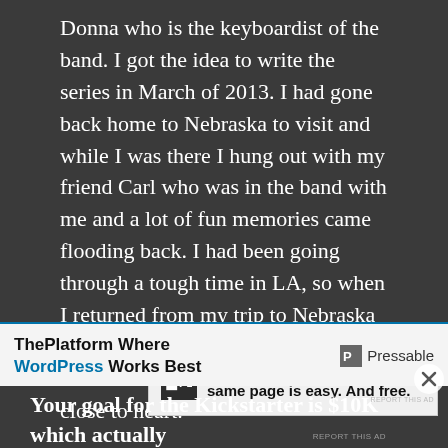Donna who is the keyboardist of the band. I got the idea to write the series in March of 2013. I had gone back home to Nebraska to visit and while I was there I hung out with my friend Carl who was in the band with me and a lot of fun memories came flooding back. I had been going through a tough time in LA, so when I returned from my trip to Nebraska I really immersed myself in writing this series and it has become very close to heart.
Advertisements
[Figure (other): Advertisement for P2 by WordPress.com: logo with letter P2 in a black square, headline text 'Getting your team on the same page is easy. And free.']
Your goal for the Kickstarter is $10K which actually isn't too crazy for video production projects. What
[Figure (other): Bottom advertisement for Pressable: 'ThePlatform Where WordPress Works Best' with Pressable logo on the right]